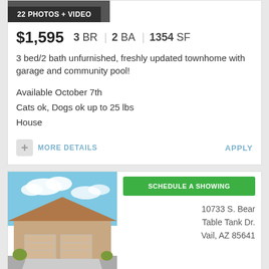[Figure (photo): Photo banner showing '22 PHOTOS + VIDEO' label on dark background]
$1,595  3 BR | 2 BA | 1354 SF
3 bed/2 bath unfurnished, freshly updated townhome with garage and community pool!
Available October 7th
Cats ok, Dogs ok up to 25 lbs
House
MORE DETAILS   APPLY
[Figure (photo): Exterior photo of a single-story tan/beige house with two-car garage, blue sky with clouds. Label: 15 PHOTOS. Green button: SCHEDULE A SHOWING. Address: 10733 S. Bear Table Tank Dr. Vail, AZ 85641]
$1,999  4 BR | 2 BA | 2141 SF
Rancho Del Lago Spacious 4-BD 2BA